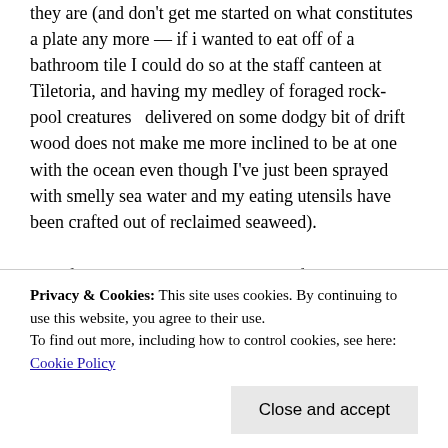they are (and don't get me started on what constitutes a plate any more — if i wanted to eat off of a bathroom tile I could do so at the staff canteen at Tiletoria, and having my medley of foraged rock-pool creatures  delivered on some dodgy bit of drift wood does not make me more inclined to be at one with the ocean even though I've just been sprayed with smelly sea water and my eating utensils have been crafted out of reclaimed seaweed).
That fact that you can now buy bits of slate at Woolworths to serve your food on is an indication of a world gone wrong. Do yourselves a favour and go down to...
Privacy & Cookies: This site uses cookies. By continuing to use this website, you agree to their use.
To find out more, including how to control cookies, see here: Cookie Policy